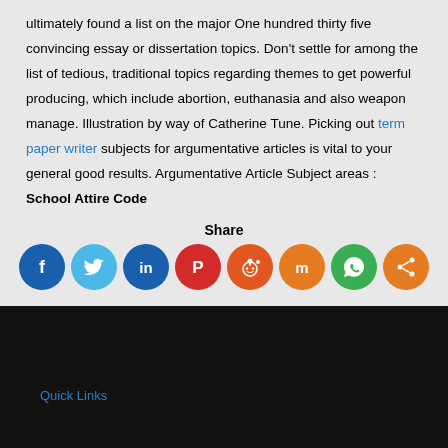ultimately found a list on the major One hundred thirty five convincing essay or dissertation topics. Don't settle for among the list of tedious, traditional topics regarding themes to get powerful producing, which include abortion, euthanasia and also weapon manage. Illustration by way of Catherine Tune. Picking out term paper writer subjects for argumentative articles is vital to your general good results. Argumentative Article Subject areas : School Attire Code
Share
[Figure (infographic): Row of 8 social media sharing icons: Facebook (dark blue), Twitter (light blue), LinkedIn (dark blue), Pinterest (red), Reddit (orange-red), Mix (orange), WhatsApp (green), Share (orange)]
Quick Links